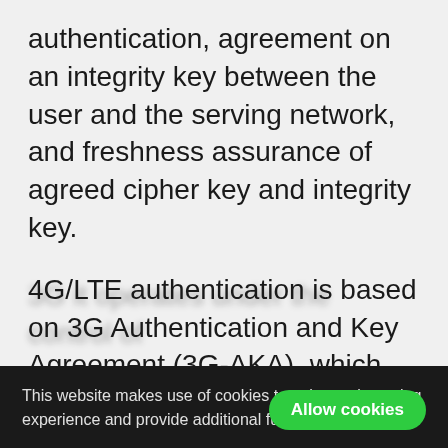authentication, agreement on an integrity key between the user and the serving network, and freshness assurance of agreed cipher key and integrity key.
4G/LTE authentication is based on 3G Authentication and Key Agreement (3G-AKA), which has been re-used for the IP network. An improved Universal Subscriber Identity Module (USIM) is used to authenticate access to LTE, as it was in GSM. Two sets of security algorithms were developed for LTE: one based on AES (Advanced Encryption Standard)
This website makes use of cookies to enhance browsing experience and provide additional functionality. Details